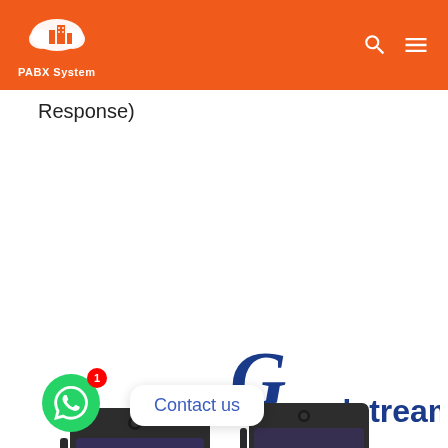PABX System
Response)
[Figure (photo): Grandstream logo and multiple Grandstream IP video phones/desk phones displayed together, with a WhatsApp contact button overlay reading 'Contact us']